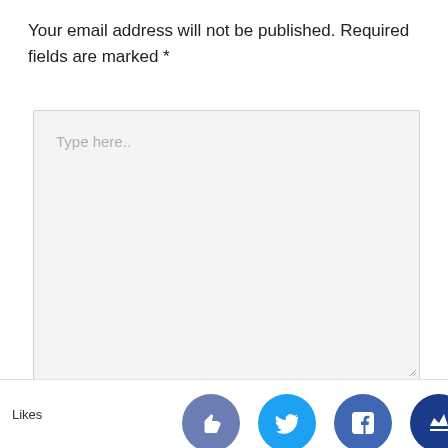Your email address will not be published. Required fields are marked *
[Figure (screenshot): Large text input textarea with placeholder text 'Type here..' and a resize handle in the bottom-right corner]
Likes  [thumbs-up icon] [Twitter icon] [Facebook icon] [Crown icon]